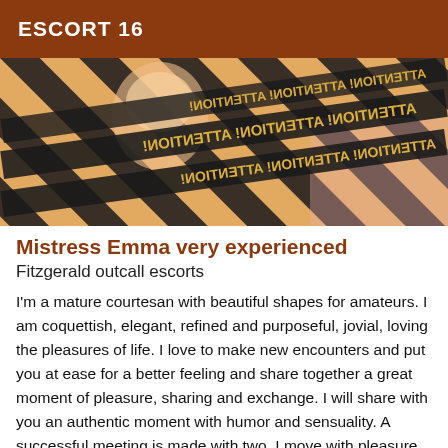ESCORT 16
[Figure (photo): A photo of a woman partially obscured by caution tape strips with mirrored text reading 'ATTENTION', overlapping diagonally across the image.]
Mistress Emma very experienced
Fitzgerald outcall escorts
I'm a mature courtesan with beautiful shapes for amateurs. I am coquettish, elegant, refined and purposeful, jovial, loving the pleasures of life. I love to make new encounters and put you at ease for a better feeling and share together a great moment of pleasure, sharing and exchange. I will share with you an authentic moment with humor and sensuality. A successful meeting is made with two. I move with pleasure either to your apartment or your hotel for a minimum of 1 hour. I am available for longer moments: evenings,